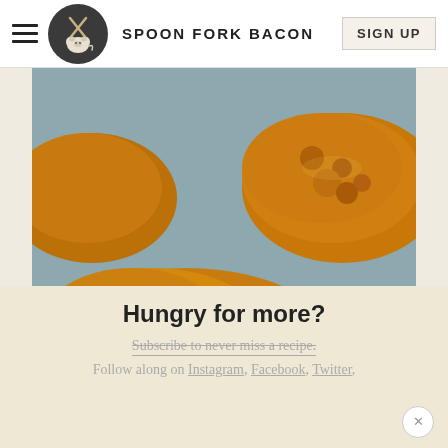SPOON FORK BACON | SIGN UP
[Figure (photo): Close-up photo of golden-brown crispy cheesy apple farro cakes on a gray surface]
Cheesy Apple Farro Cakes
Hungry for more?
Subscribe to never miss a recipe.
Follow along on Instagram, Facebook, Twitter,